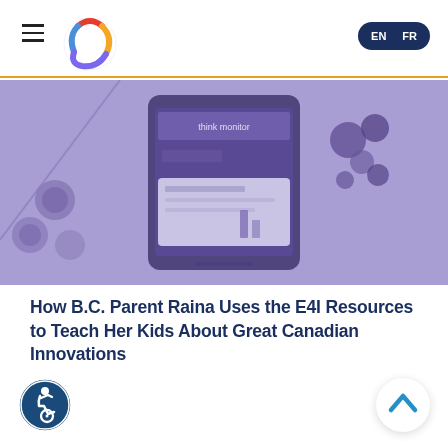EN | FR
[Figure (logo): Colorful circular logo with red, yellow, blue, and purple swirls]
[Figure (photo): Hero image with purple/lavender overlay showing a smartphone on a table surrounded by small colorful objects like toy gears and candies]
How B.C. Parent Raina Uses the E4I Resources to Teach Her Kids About Great Canadian Innovations
[Figure (illustration): Accessibility icon — circular badge with wheelchair user symbol in blue and white]
[Figure (illustration): Back to top arrow — upward chevron in teal/blue on white circular background]